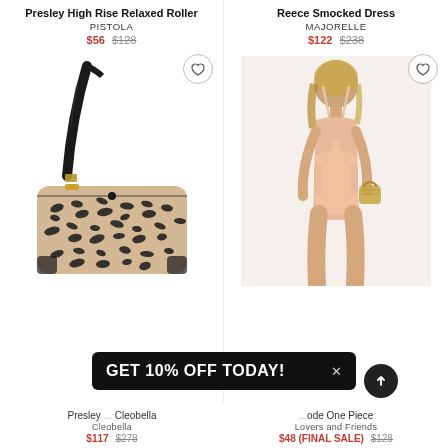Presley High Rise Relaxed Roller
PISTOLA
$56 $128
[Figure (photo): Leopard print shoulder bag with black leather strap and gold hardware]
Reece Smocked Dress
MAJORELLE
$122 $238
[Figure (photo): Woman wearing a pink cut-out one piece swimsuit holding a wicker bag]
GET 10% OFF TODAY! ×
Presley ... Cleobella
$117 $278
...ode One Piece
Lovers and Friends
$48 (FINAL SALE) $128